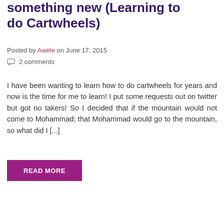something new (Learning to do Cartwheels)
Posted by Awele on June 17, 2015
2 comments
I have been wanting to learn how to do cartwheels for years and now is the time for me to learn! I put some requests out on twitter but got no takers! So I decided that if the mountain would not come to Mohammad; that Mohammad would go to the mountain, so what did I [...]
READ MORE